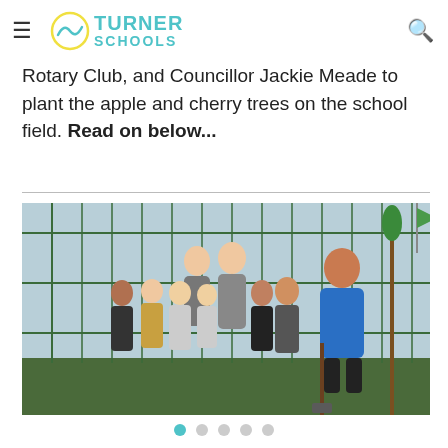Turner Schools
Rotary Club, and Councillor Jackie Meade to plant the apple and cherry trees on the school field. Read on below...
[Figure (photo): Group photo of children and adults posing in a school field next to a metal fence, with a woman in a blue Rotary Club polo shirt holding a spade, planting trees.]
Slide navigation dots (5 dots, first active)